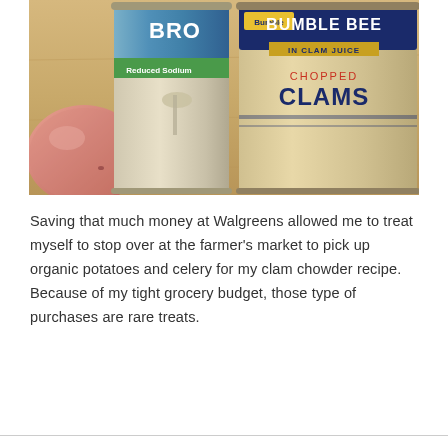[Figure (photo): Photo of grocery ingredients on a wooden surface: a red potato on the left, a can of reduced sodium broth in the center, and a can of Bumble Bee Chopped Clams in clam juice on the right.]
Saving that much money at Walgreens allowed me to treat myself to stop over at the farmer's market to pick up organic potatoes and celery for my clam chowder recipe.  Because of my tight grocery budget, those type of purchases are rare treats.